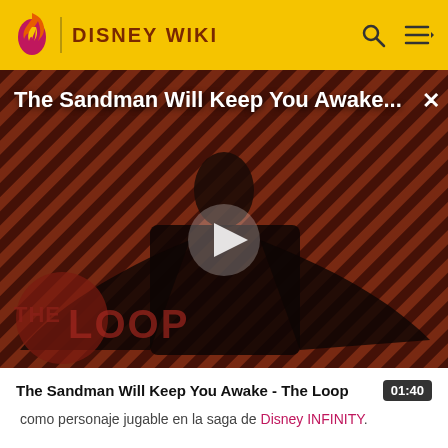DISNEY WIKI
[Figure (screenshot): Video thumbnail showing a figure in dark costume against diagonal striped red/brown background with 'THE LOOP' watermark. Play button visible in center. Title overlay reads 'The Sandman Will Keep You Awake...' with close button.]
The Sandman Will Keep You Awake - The Loop
como personaje jugable en la saga de Disney INFINITY.